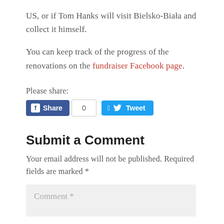US, or if Tom Hanks will visit Bielsko-Biała and collect it himself.
You can keep track of the progress of the renovations on the fundraiser Facebook page.
Please share:
[Figure (other): Social share buttons: Facebook Share button with count '0' and Twitter Tweet button]
Submit a Comment
Your email address will not be published. Required fields are marked *
Comment *